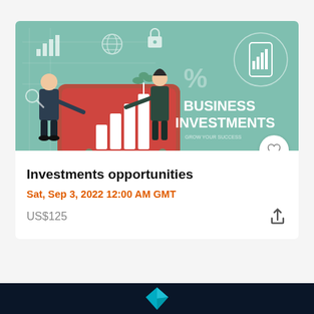[Figure (illustration): Business investments promotional banner illustration showing two business people with growing bar charts on a smartphone platform, with icons for finance and a lock, teal background with text 'BUSINESS INVESTMENTS GROW YOUR SUCCESS']
Investments opportunities
Sat, Sep 3, 2022 12:00 AM GMT
US$125